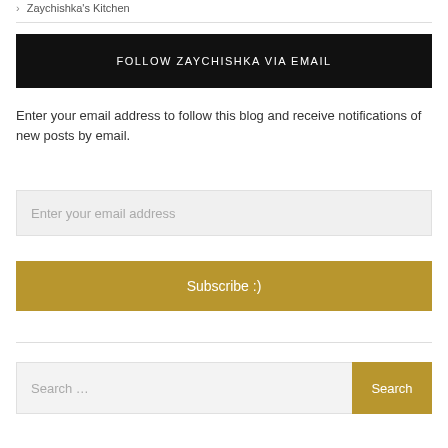> Zaychishka's Kitchen
FOLLOW ZAYCHISHKA VIA EMAIL
Enter your email address to follow this blog and receive notifications of new posts by email.
Enter your email address
Subscribe :)
Search ...
Search